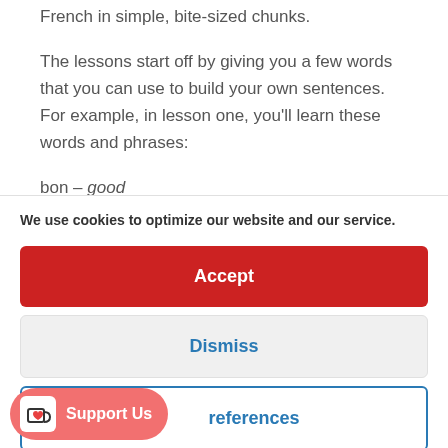French in simple, bite-sized chunks.
The lessons start off by giving you a few words that you can use to build your own sentences. For example, in lesson one, you'll learn these words and phrases:
bon – good
We use cookies to optimize our website and our service.
Accept
Dismiss
references
[Figure (other): Support Us button with coffee cup icon in coral/red color]